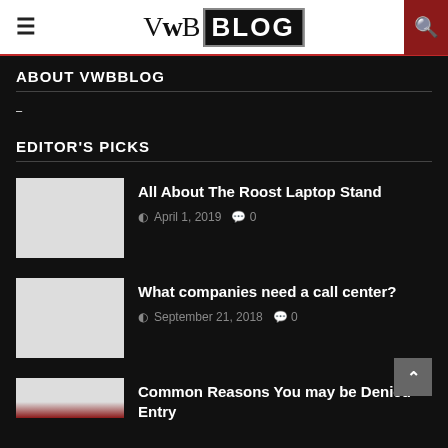VwB BLOG
ABOUT VWBBLOG
–
EDITOR'S PICKS
All About The Roost Laptop Stand
April 1, 2019  0
What companies need a call center?
September 21, 2018  0
Common Reasons You may be Denied Entry